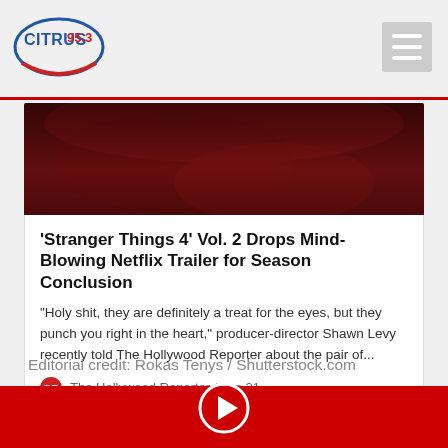[Figure (logo): Citrus 95.3 radio station logo with red and blue circular design]
[Figure (photo): Dark red/crimson textured background image, bottom portion of Stranger Things related image]
'Stranger Things 4' Vol. 2 Drops Mind-Blowing Netflix Trailer for Season Conclusion
"Holy shit, they are definitely a treat for the eyes, but they punch you right in the heart," producer-director Shawn Levy recently told The Hollywood Reporter about the pair of...
The Hollywood Reporter / Jun 21
Editorial credit: Rokas Tenys / Shutterstock.com
Share on Facebook
Share on Twitter